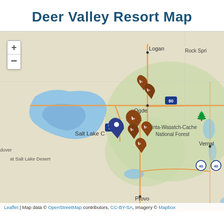Deer Valley Resort Map
[Figure (map): Interactive Leaflet map centered on the Salt Lake City / Deer Valley area in Utah, showing geographic features including the Great Salt Lake (blue), Uinta-Wasatch-Cache National Forest (green), roads, and several location markers: one blue teardrop pin near Salt Lake City and multiple brown ski/resort markers near Ogden and Park City/Deer Valley area. Cities labeled: Logan, Ogden, Salt Lake City, Provo, Vernal. Highways labeled: I-80, US-40. Also shows Rock Springs and Great Salt Lake Desert labels.]
Leaflet | Map data © OpenStreetMap contributors, CC-BY-SA, Imagery © Mapbox